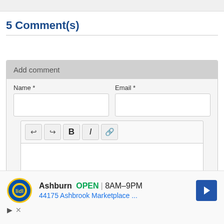5 Comment(s)
Add comment
Name *
Email *
[Figure (screenshot): Comment editor toolbar with undo, redo, bold, italic, and link buttons]
[Figure (screenshot): Advertisement banner showing Lidl store in Ashburn, OPEN 8AM-9PM, 44175 Ashbrook Marketplace ...]